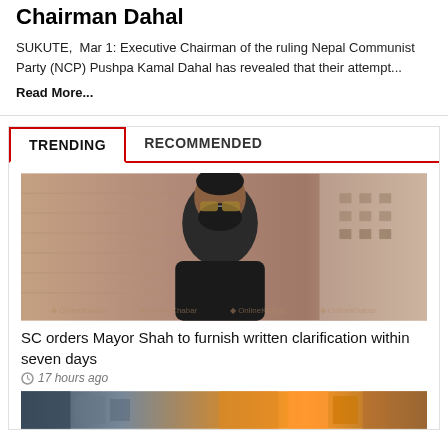Chairman Dahal
SUKUTE, Mar 1: Executive Chairman of the ruling Nepal Communist Party (NCP) Pushpa Kamal Dahal has revealed that their attempt...
Read More...
TRENDING | RECOMMENDED
[Figure (photo): Portrait photo of a bearded man wearing sunglasses and a dark jacket, standing in front of a brick wall/stone temple structure]
SC orders Mayor Shah to furnish written clarification within seven days
17 hours ago
[Figure (photo): Partial bottom image, appears to show market/street scene with colorful items]